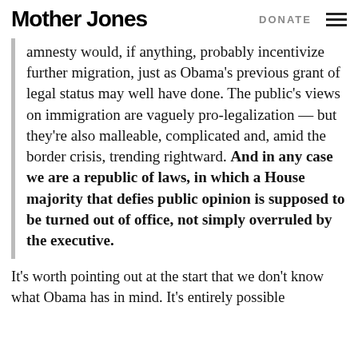Mother Jones   DONATE
amnesty would, if anything, probably incentivize further migration, just as Obama’s previous grant of legal status may well have done. The public’s views on immigration are vaguely pro-legalization — but they’re also malleable, complicated and, amid the border crisis, trending rightward. And in any case we are a republic of laws, in which a House majority that defies public opinion is supposed to be turned out of office, not simply overruled by the executive.
It’s worth pointing out at the start that we don’t know what Obama has in mind. It’s entirely possible